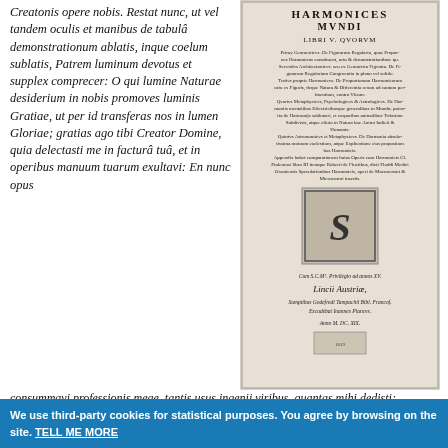Creatonis opere nobis. Restat nunc, ut vel tandem oculis et manibus de tabulâ demonstrationum ablatis, inque coelum sublatis, Patrem luminum devotus et supplex comprecer: O qui lumine Naturae desiderium in nobis promoves luminis Gratiae, ut per id transferas nos in lumen Gloriae; gratias ago tibi Creator Domine, quia delectasti me in facturâ tuâ, et in operibus manuum tuarum exultavi: En nunc opus consummavi professionis meae, tantis usus ingenii viribus, quantas mihi dedisti; manifestavi gloriam operum tuorum hominibus, istas demonstrationes lecturis, quantum de illius infinitate capere potuerunt angustiae Mentis meae; promptus mihi fuit animus ad emendatissime philosophandum: si quid indignum tuis consiliis prolatum a me, vermiculo, in volutabro
[Figure (photo): Title page of Harmonices Mundi (Harmony of the Worlds) by Johannes Kepler, Libri V, published in Lincii Austriae, printed by Godefredus Tampachius, excudit Ioannes Plancus, anno M.DC.XIX (1619). Shows decorative title text, list of book contents, a woodcut illustration of the letter S in a square, and publication details.]
consummavi professionis meae, tantis usus ingenii viribus, quantas mihi dedisti; manifestavi gloriam operum tuorum hominibus, istas demonstrationes lecturis, quantum de illius infinitate capere potuerunt angustiae Mentis meae; promptus mihi fuit animus ad emendatissime philosophandum: si quid indignum tuis consiliis prolatum a me, vermiculo, in volutabro
We use third-party cookies for statistical purposes. You agree by browsing on the site. TELL ME MORE